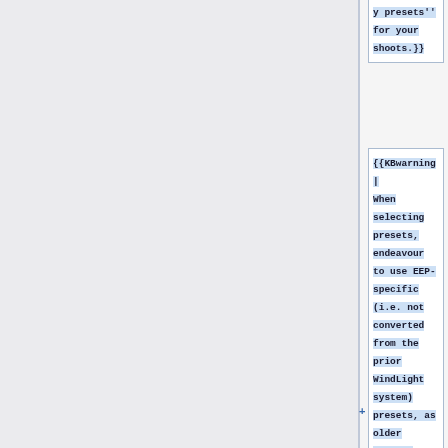y presets'' for your shoots.}}
{{KBwarning| When selecting presets, endeavour to use EEP-specific (i.e. not converted from the prior WindLight system) presets, as older presets would have undergone a